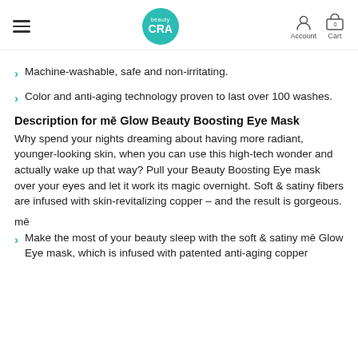beauty CRA | Account | Cart
Machine-washable, safe and non-irritating.
Color and anti-aging technology proven to last over 100 washes.
Description for mē Glow Beauty Boosting Eye Mask
Why spend your nights dreaming about having more radiant, younger-looking skin, when you can use this high-tech wonder and actually wake up that way? Pull your Beauty Boosting Eye mask over your eyes and let it work its magic overnight. Soft & satiny fibers are infused with skin-revitalizing copper – and the result is gorgeous.
mē
Make the most of your beauty sleep with the soft & satiny mē Glow Eye mask, which is infused with patented anti-aging copper